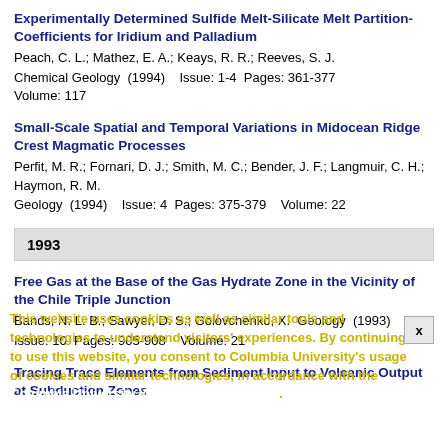Experimentally Determined Sulfide Melt-Silicate Melt Partition-Coefficients for Iridium and Palladium
Peach, C. L.; Mathez, E. A.; Keays, R. R.; Reeves, S. J.
Chemical Geology  (1994)    Issue: 1-4  Pages: 361-377    Volume: 117
Small-Scale Spatial and Temporal Variations in Midocean Ridge Crest Magmatic Processes
Perfit, M. R.; Fornari, D. J.; Smith, M. C.; Bender, J. F.; Langmuir, C. H.; Haymon, R. M.
Geology  (1994)    Issue: 4  Pages: 375-379    Volume: 22
1993
Free Gas at the Base of the Gas Hydrate Zone in the Vicinity of the Chile Triple Junction
Bands, N. L. B.; Sawyer, D. S.; Golovchenko, X.  Geology  (1993)  Issue: 10  Pages: 905-908    Volume: 21
Tracing Trace Elements from Sediment Input to Volcanic Output at Subduction Zones